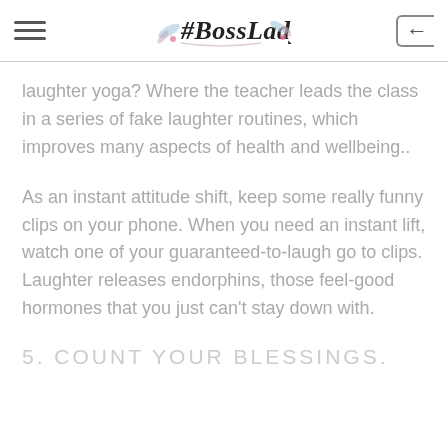#BossLady
laughter yoga? Where the teacher leads the class in a series of fake laughter routines, which improves many aspects of health and wellbeing..
As an instant attitude shift, keep some really funny clips on your phone. When you need an instant lift, watch one of your guaranteed-to-laugh go to clips. Laughter releases endorphins, those feel-good hormones that you just can't stay down with.
5. COUNT YOUR BLESSINGS.